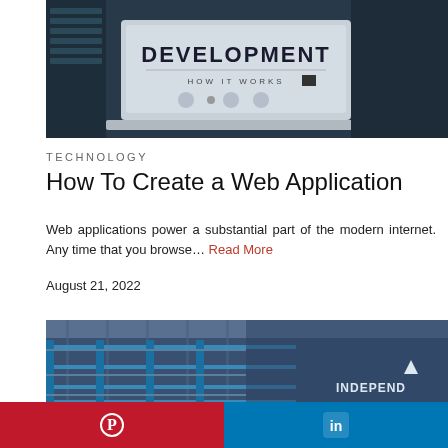[Figure (photo): Laptop displaying a web development presentation slide with the word DEVELOPMENT in bold and text HOW IT WORKS below it, set against a dark background with servers]
TECHNOLOGY
How To Create a Web Application
Web applications power a substantial part of the modern internet. Any time that you browse… Read More
August 21, 2022
[Figure (photo): Interior of an industrial warehouse or factory with blue metal scaffolding and structures, with an INDEPENDENT logo with a triangle in the bottom right]
Pinterest | LinkedIn social share buttons